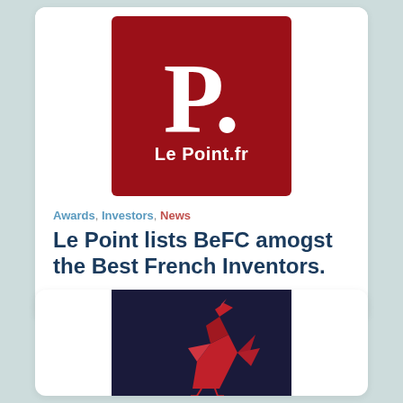[Figure (logo): Le Point.fr magazine logo: large white 'P.' on a dark red square background with 'Le Point.fr' text below in white]
Awards, Investors, News
Le Point lists BeFC amogst the Best French Inventors.
20 Jun 2022
[Figure (illustration): Dark navy blue background with a red origami-style rooster figure, partially visible at bottom of page]